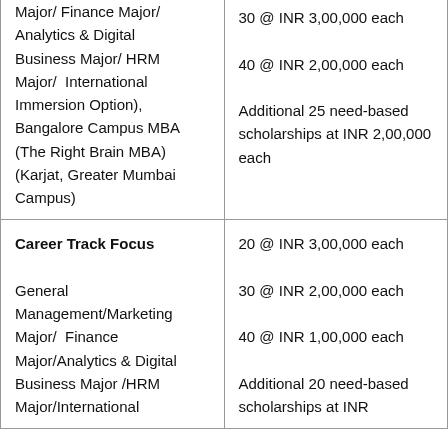| Major/ Finance Major/ Analytics & Digital Business Major/ HRM Major/  International Immersion Option), Bangalore Campus MBA (The Right Brain MBA) (Karjat, Greater Mumbai Campus) | 30 @ INR 3,00,000 each

40 @ INR 2,00,000 each

Additional 25 need-based scholarships at INR 2,00,000 each |
| Career Track Focus

General Management/Marketing Major/  Finance Major/Analytics & Digital Business Major /HRM Major/International | 20 @ INR 3,00,000 each

30 @ INR 2,00,000 each

40 @ INR 1,00,000 each

Additional 20 need-based scholarships at INR |